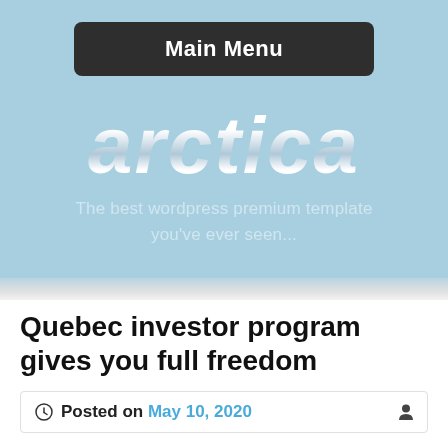Main Menu
[Figure (logo): arctica logo with tagline: The best wordpress premium template you've ever seen...]
Quebec investor program gives you full freedom
Posted on May 10, 2020